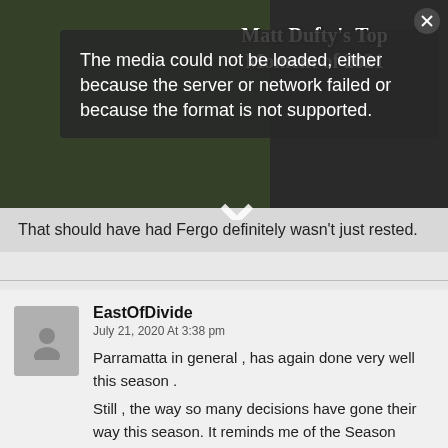[Figure (screenshot): Video player screenshot showing a rugby/football match with a media error overlay. The overlay reads 'The media could not be loaded, either because the server or network failed or because the format is not supported.' A title 'Matt Dufty's Top Moment of 2021' appears in the upper right. A large X close button is visible.]
That should have had Fergo definitely wasn't just rested.
EastOfDivide
July 21, 2020 At 3:38 pm
Parramatta in general , has again done very well this season .
Still , the way so many decisions have gone their way this season. It reminds me of the Season Cronulla Won the premiership. Not much went against them either. It wasn't just the one decision that went their way against Manly the first time around . Many things have gone their